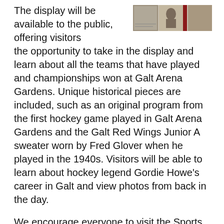The display will be available to the public, offering visitors the opportunity to take in the display and learn about all the teams that have played and championships won at Galt Arena Gardens. Unique historical pieces are included, such as an original program from the first hockey game played in Galt Arena Gardens and the Galt Red Wings Junior A sweater worn by Fred Glover when he played in the 1940s. Visitors will be able to learn about hockey legend Gordie Howe's career in Galt and view photos from back in the day.
[Figure (photo): A collage of historical black-and-white photos related to Galt Arena Gardens hockey history]
We encourage everyone to visit the Sports Hall of Fame display!
Milestone timeline
Learn more about Galt Arena Garden's long history